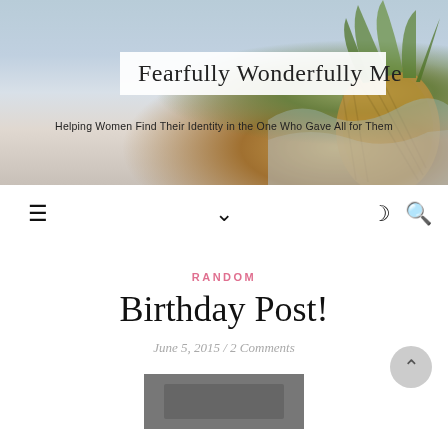[Figure (photo): Blog header image showing a beach scene with waves and a pineapple on the right side]
Fearfully Wonderfully Me
Helping Women Find Their Identity in the One Who Gave All for Them
[Figure (screenshot): Navigation bar with hamburger menu icon, chevron/down arrow, moon icon, and search icon]
RANDOM
Birthday Post!
June 5, 2015 / 2 Comments
[Figure (photo): Partial photo at the bottom of the page]